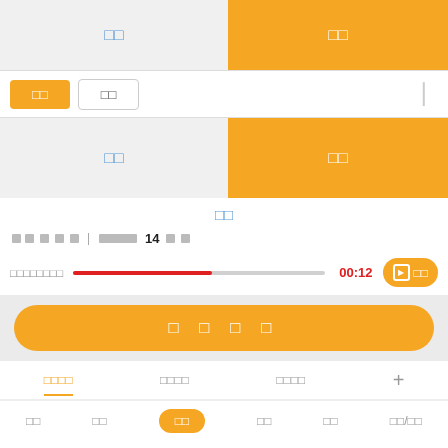[Figure (screenshot): Mobile app UI screenshot showing a selection interface with orange and gray panels, playback controls, CTA button, tab bar, and bottom navigation. Contains CJK (Chinese/Japanese/Korean) placeholder text rendered as boxes.]
□□
□□
□□
□□
□□
□□
□□□□□□□□
00:12
□ □□
□ □ □ □
□□□□  □□□□  □□□□
□□  □□  □□  □□  □□  □□/□□